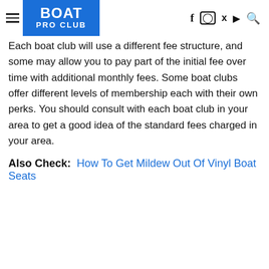BOAT PRO CLUB
Each boat club will use a different fee structure, and some may allow you to pay part of the initial fee over time with additional monthly fees. Some boat clubs offer different levels of membership each with their own perks. You should consult with each boat club in your area to get a good idea of the standard fees charged in your area.
Also Check:  How To Get Mildew Out Of Vinyl Boat Seats